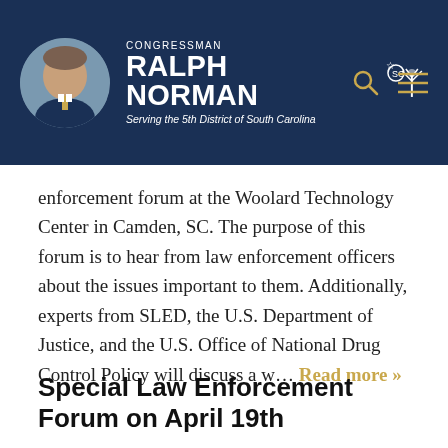[Figure (logo): Congressman Ralph Norman website header with photo, name, South Carolina logo, tagline 'Serving the 5th District of South Carolina', search icon, and menu icon on dark navy background]
enforcement forum at the Woolard Technology Center in Camden, SC. The purpose of this forum is to hear from law enforcement officers about the issues important to them. Additionally, experts from SLED, the U.S. Department of Justice, and the U.S. Office of National Drug Control Policy will discuss a w… Read more »
Special Law Enforcement Forum on April 19th